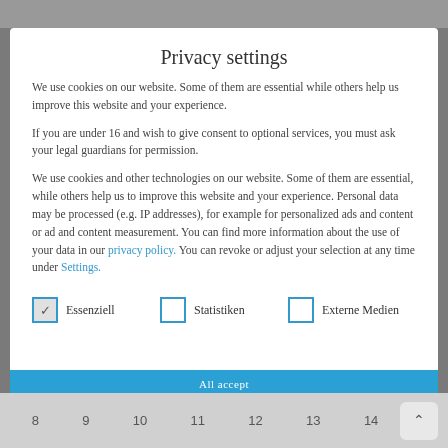Privacy settings
We use cookies on our website. Some of them are essential while others help us improve this website and your experience.
If you are under 16 and wish to give consent to optional services, you must ask your legal guardians for permission.
We use cookies and other technologies on our website. Some of them are essential, while others help us to improve this website and your experience. Personal data may be processed (e.g. IP addresses), for example for personalized ads and content or ad and content measurement. You can find more information about the use of your data in our privacy policy. You can revoke or adjust your selection at any time under Settings.
Essenziell
Statistiken
Externe Medien
8  9  10  11  12  13  14